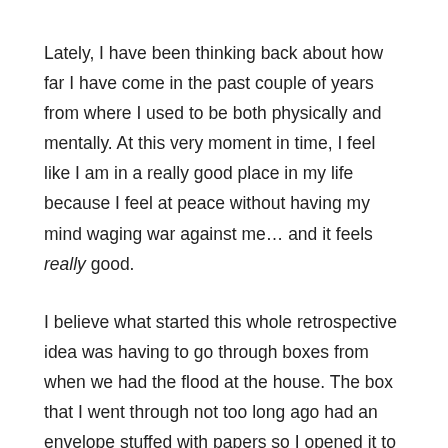Lately, I have been thinking back about how far I have come in the past couple of years from where I used to be both physically and mentally. At this very moment in time, I feel like I am in a really good place in my life because I feel at peace without having my mind waging war against me… and it feels really good.
I believe what started this whole retrospective idea was having to go through boxes from when we had the flood at the house. The box that I went through not too long ago had an envelope stuffed with papers so I opened it to see if it was anything worth keeping. It turns out that it was a packet of papers that one of the therapists I saw had sent to me to try to help me with learning how to help myself and trying to identify any specifics that we could to make sure we had the upper hand in the whole PTSD saga. I read over the questionnaire that I did back in 2007 and got pretty teary-eyed because it hurt so bad to see how fragile I was. I wanted to go back in time and just give that younger version of me a huge hug and tell